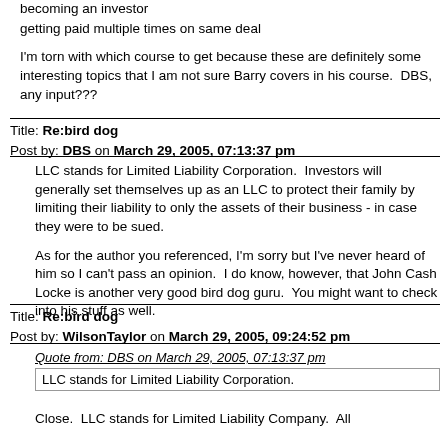becoming an investor
getting paid multiple times on same deal
I'm torn with which course to get because these are definitely some interesting topics that I am not sure Barry covers in his course.  DBS, any input???
Title: Re:bird dog
Post by: DBS on March 29, 2005, 07:13:37 pm
LLC stands for Limited Liability Corporation.  Investors will generally set themselves up as an LLC to protect their family by limiting their liability to only the assets of their business - in case they were to be sued.
As for the author you referenced, I'm sorry but I've never heard of him so I can't pass an opinion.  I do know, however, that John Cash Locke is another very good bird dog guru.  You might want to check into his stuff as well.
Title: Re:bird dog
Post by: WilsonTaylor on March 29, 2005, 09:24:52 pm
Quote from: DBS on March 29, 2005, 07:13:37 pm
LLC stands for Limited Liability Corporation.
Close.  LLC stands for Limited Liability Company.  All